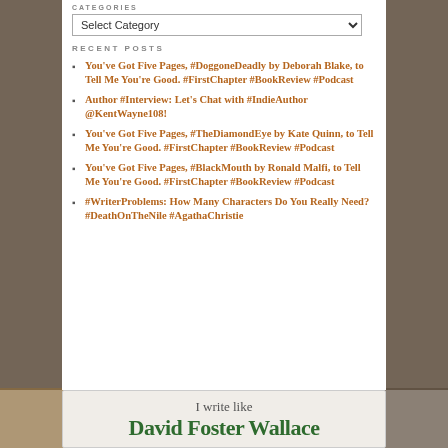CATEGORIES
Select Category
RECENT POSTS
You've Got Five Pages, #DoggoneDeadly by Deborah Blake, to Tell Me You're Good. #FirstChapter #BookReview #Podcast
Author #Interview: Let's Chat with #IndieAuthor @KentWayne108!
You've Got Five Pages, #TheDiamondEye by Kate Quinn, to Tell Me You're Good. #FirstChapter #BookReview #Podcast
You've Got Five Pages, #BlackMouth by Ronald Malfi, to Tell Me You're Good. #FirstChapter #BookReview #Podcast
#WriterProblems: How Many Characters Do You Really Need? #DeathOnTheNile #AgathaChristie
[Figure (other): I write like David Foster Wallace widget — a text block showing 'I write like' and 'David Foster Wallace' in large green bold text on a light patterned background]